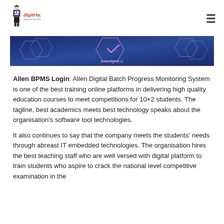digitria.in — Digital India, Best Online Educational Portal
[Figure (screenshot): Digitria.in banner with blue digital/tech background and www.digitria.in watermark]
Allen BPMS Login: Allen Digital Batch Progress Monitoring System is one of the best training online platforms in delivering high quality education courses to meet competitions for 10+2 students. The tagline, best academics meets best technology speaks about the organisation's software tool technologies.
It also continues to say that the company meets the students' needs through abreast IT embedded technologies. The organisation hires the best teaching staff who are well versed with digital platform to train students who aspire to crack the national level competitive examination in the